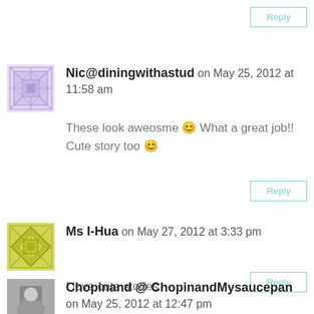[Figure (other): Reply button at top right]
[Figure (other): Purple geometric avatar for Nic@diningwithastud]
Nic@diningwithastud on May 25, 2012 at 11:58 am
These look aweosme 😊 What a great job!! Cute story too 😊
[Figure (other): Reply button]
[Figure (other): Yellow/green geometric avatar for Ms I-Hua]
Ms I-Hua on May 27, 2012 at 3:33 pm
I love cute stories
[Figure (other): Reply button]
[Figure (photo): Small photo avatar for Chopinand @ ChopinandMysaucepan]
Chopinand @ ChopinandMysaucepan on May 25, 2012 at 12:47 pm